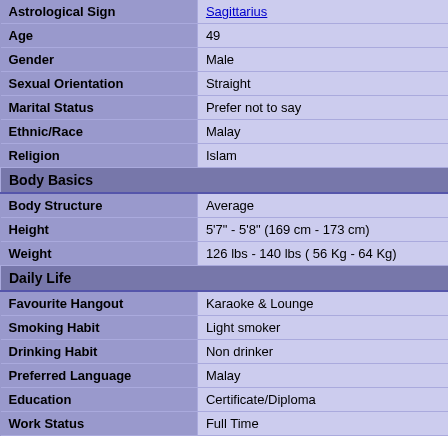| Field | Value |
| --- | --- |
| Astrological Sign | Sagittarius |
| Age | 49 |
| Gender | Male |
| Sexual Orientation | Straight |
| Marital Status | Prefer not to say |
| Ethnic/Race | Malay |
| Religion | Islam |
| Body Basics |  |
| Body Structure | Average |
| Height | 5'7" - 5'8" (169 cm - 173 cm) |
| Weight | 126 lbs - 140 lbs ( 56 Kg - 64 Kg) |
| Daily Life |  |
| Favourite Hangout | Karaoke & Lounge |
| Smoking Habit | Light smoker |
| Drinking Habit | Non drinker |
| Preferred Language | Malay |
| Education | Certificate/Diploma |
| Work Status | Full Time |
Send Personal Message to dakpa
MemberID